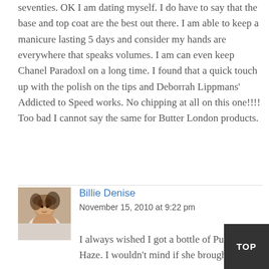seventies. OK I am dating myself. I do have to say that the base and top coat are the best out there. I am able to keep a manicure lasting 5 days and consider my hands are everywhere that speaks volumes. I am can even keep Chanel Paradoxl on a long time. I found that a quick touch up with the polish on the tips and Deborrah Lippmans' Addicted to Speed works. No chipping at all on this one!!!! Too bad I cannot say the same for Butter London products.
[Figure (photo): Avatar photo of Billie Denise, a young woman with curly hair, smiling]
Billie Denise
November 15, 2010 at 9:22 pm
I always wished I got a bottle of Purple Haze. I wouldn't mind if she brought it